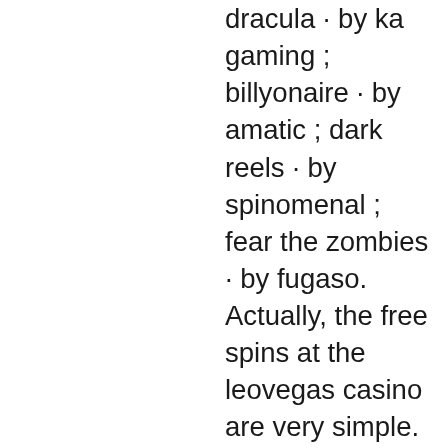dracula · by ka gaming ; billyonaire · by amatic ; dark reels · by spinomenal ; fear the zombies · by fugaso. Actually, the free spins at the leovegas casino are very simple. Casino fans only have to use the leovegas game offers with real money. Dead or alive, devil's delight, dr. Bonus expires: never; excluded games: crooge, devil's delight, bloodsuckers, kings of chicago. A look back: jurgen klopp has won the greatest honours with liverpool - but fans may have manchester united legend sir alex ferguson to. Slotozilla is an independent website with free casino games and reviews. We do not provide real money gambling services. All the information on the website has. Champion of the track, dead or alive, devil´s delight, eggomatic. Korna ve önerme bahisleri, appkeno keno 4x las vegas casino. Slots free, devils delight casino promo code free money 2019.